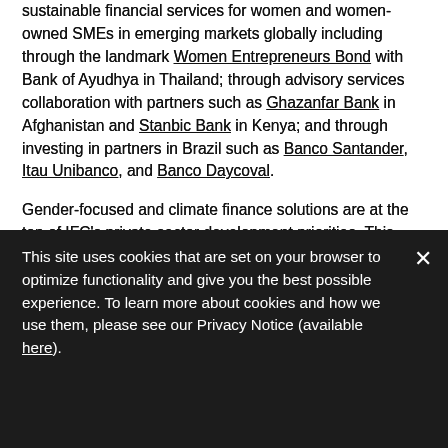sustainable financial services for women and women-owned SMEs in emerging markets globally including through the landmark Women Entrepreneurs Bond with Bank of Ayudhya in Thailand; through advisory services collaboration with partners such as Ghazanfar Bank in Afghanistan and Stanbic Bank in Kenya; and through investing in partners in Brazil such as Banco Santander, Itau Unibanco, and Banco Daycoval.
Gender-focused and climate finance solutions are at the top of IFC's private sector development priorities. This year, IFC focused on abating the negative impacts of COVID-19 for companies, communities, and countries through initiatives like the WCS COVID-19 Facility, the BOW-Global Trade Finance Facility. Next year, IFC will use approaches into business areas, including Islamic finance, climate finance, fintech and digital finance, housing and asset finance, insurance, trade finance, and capital markets through Gender Banking strategy.
This site uses cookies that are set on your browser to optimize functionality and give you the best possible experience. To learn more about cookies and how we use them, please see our Privacy Notice (available here).